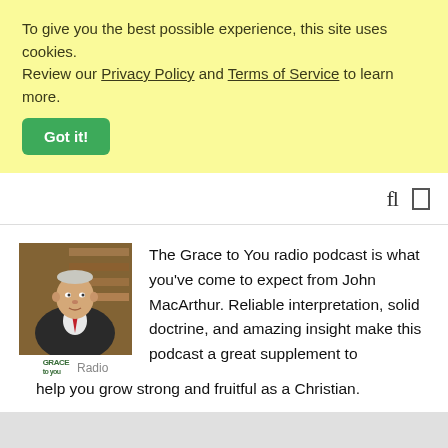To give you the best possible experience, this site uses cookies. Review our Privacy Policy and Terms of Service to learn more.
Got it!
[Figure (screenshot): Navigation bar with search and menu icons on the right]
[Figure (photo): Photo of John MacArthur in front of a bookshelf with Grace to You Radio logo beneath]
The Grace to You radio podcast is what you've come to expect from John MacArthur. Reliable interpretation, solid doctrine, and amazing insight make this podcast a great supplement to help you grow strong and fruitful as a Christian.